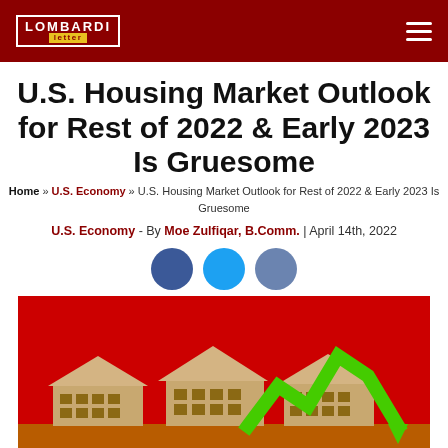LOMBARDI letter
U.S. Housing Market Outlook for Rest of 2022 & Early 2023 Is Gruesome
Home » U.S. Economy » U.S. Housing Market Outlook for Rest of 2022 & Early 2023 Is Gruesome
U.S. Economy - By Moe Zulfiqar, B.Comm. | April 14th, 2022
[Figure (illustration): Three social media sharing buttons: Facebook (dark blue circle), Twitter (blue circle), LinkedIn (grey-blue circle)]
[Figure (photo): Photo with red background showing miniature wooden house models and a green zigzag arrow trending upward then sharply downward, symbolizing housing market volatility]